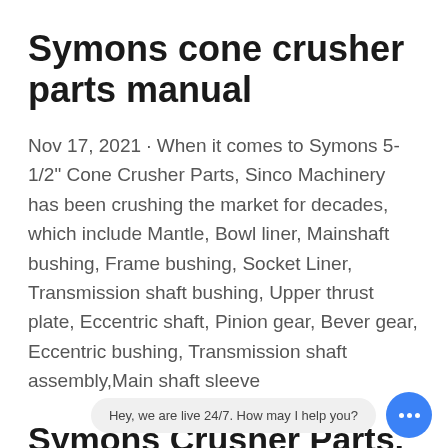Symons cone crusher parts manual
Nov 17, 2021 · When it comes to Symons 5-1/2" Cone Crusher Parts, Sinco Machinery has been crushing the market for decades, which include Mantle, Bowl liner, Mainshaft bushing, Frame bushing, Socket Liner, Transmission shaft bushing, Upper thrust plate, Eccentric shaft, Pinion gear, Bever gear, Eccentric bushing, Transmission shaft assembly,Main shaft sleeve
Symons Crusher Parts, Bowl 2005-2576, 2751, 4326, 4330